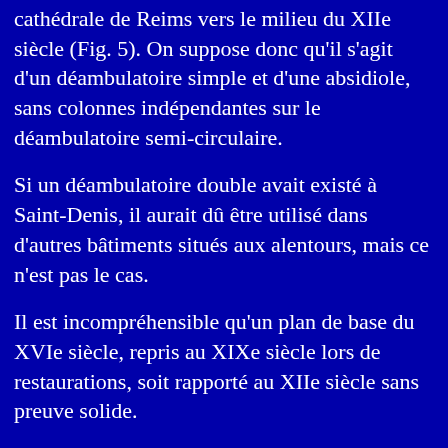cathédrale de Reims vers le milieu du XIIe siècle (Fig. 5). On suppose donc qu'il s'agit d'un déambulatoire simple et d'une absidiole, sans colonnes indépendantes sur le déambulatoire semi-circulaire.
Si un déambulatoire double avait existé à Saint-Denis, il aurait dû être utilisé dans d'autres bâtiments situés aux alentours, mais ce n'est pas le cas.
Il est incompréhensible qu'un plan de base du XVIe siècle, repris au XIXe siècle lors de restaurations, soit rapporté au XIIe siècle sans preuve solide.
Lien : Abbé Suger sur la nouvelle